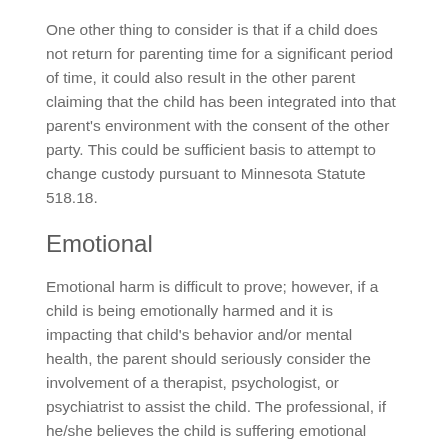One other thing to consider is that if a child does not return for parenting time for a significant period of time, it could also result in the other parent claiming that the child has been integrated into that parent's environment with the consent of the other party. This could be sufficient basis to attempt to change custody pursuant to Minnesota Statute 518.18.
Emotional
Emotional harm is difficult to prove; however, if a child is being emotionally harmed and it is impacting that child's behavior and/or mental health, the parent should seriously consider the involvement of a therapist, psychologist, or psychiatrist to assist the child. The professional, if he/she believes the child is suffering emotional endangerment in the environment of the other parent, can certainly speak to that. This would make the allegations of emotional abuse stronger if reviewed by a judicial officer. While considering this next step, you may want to